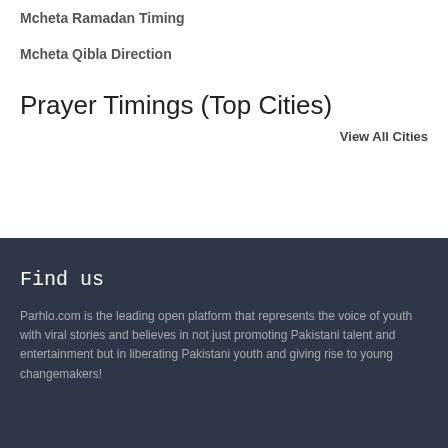Mcheta Ramadan Timing
Mcheta Qibla Direction
Prayer Timings (Top Cities)
View All Cities
Find us
Parhlo.com is the leading open platform that represents the voice of youth with viral stories and believes in not just promoting Pakistani talent and entertainment but in liberating Pakistani youth and giving rise to young changemakers!